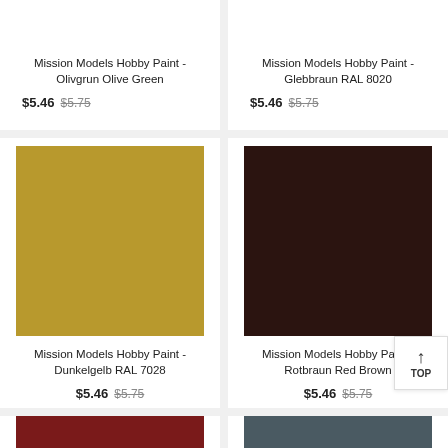Mission Models Hobby Paint - Olivgrun Olive Green
$5.46 $5.75
Mission Models Hobby Paint - Glebbraun RAL 8020
$5.46 $5.75
[Figure (illustration): Gold/tan color swatch for Dunkelgelb RAL 7028 paint]
Mission Models Hobby Paint - Dunkelgelb RAL 7028
$5.46 $5.75
[Figure (illustration): Very dark brown/maroon color swatch for Rotbraun Red Brown paint]
Mission Models Hobby Paint - Rotbraun Red Brown
$5.46 $5.75
[Figure (illustration): Dark red color swatch partially visible at bottom left]
[Figure (illustration): Dark gray/slate color swatch partially visible at bottom right]